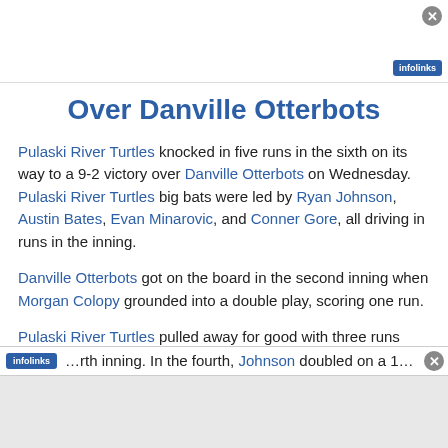Over Danville Otterbots
Pulaski River Turtles knocked in five runs in the sixth on its way to a 9-2 victory over Danville Otterbots on Wednesday. Pulaski River Turtles big bats were led by Ryan Johnson, Austin Bates, Evan Minarovic, and Conner Gore, all driving in runs in the inning.
Danville Otterbots got on the board in the second inning when Morgan Colopy grounded into a double play, scoring one run.
Pulaski River Turtles pulled away for good with three runs ...th inning. In the fourth, Johnson doubled on a 1...